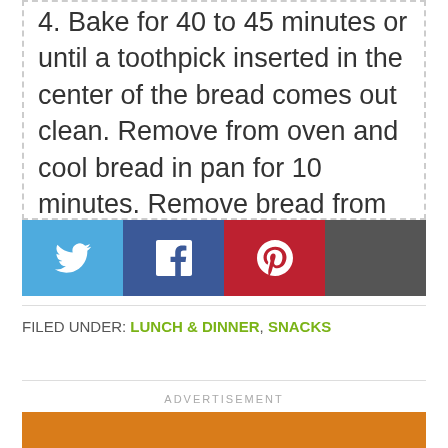4. Bake for 40 to 45 minutes or until a toothpick inserted in the center of the bread comes out clean. Remove from oven and cool bread in pan for 10 minutes. Remove bread from pan and cool completely on a wire rack before slicing.
[Figure (infographic): Social sharing buttons: Twitter (blue), Facebook (dark blue), Pinterest (red), and a dark gray more/share button]
FILED UNDER: LUNCH & DINNER, SNACKS
ADVERTISEMENT